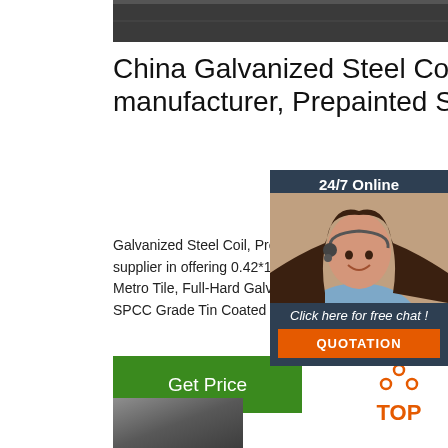[Figure (photo): Dark metallic steel coil surface, top cropped image]
China Galvanized Steel Coil manufacturer, Prepainted Steel ...
Galvanized Steel Coil, Prepainted Steel Stainless Steel manufacturer supplier in offering 0.42*1340*420mm Stone Coated Roofing Metal Sheet Metro Tile, Full-Hard Galvanized Roofing Steel Sheet Forming Machine, SPCC Grade Tin Coated Electrolytic Tinplate Steel Coil and so on.
[Figure (photo): Chat widget with woman wearing headset, 24/7 Online label, Click here for free chat text, and QUOTATION button]
[Figure (other): Get Price green button]
[Figure (logo): TOP logo with orange dots arranged in triangle above orange TOP text]
[Figure (photo): Dark metallic steel sheet, bottom cropped image]